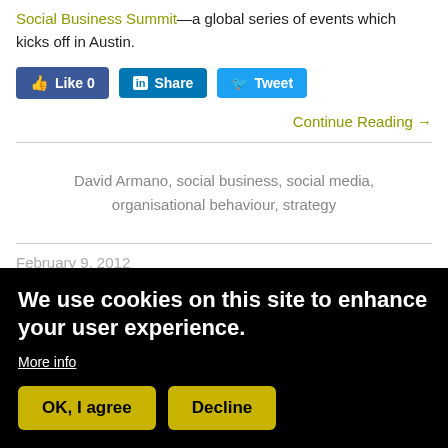Social Business Summit—a global series of events which kicks off in Austin.
[Figure (other): Social share buttons: Like 0 (Facebook), Share (LinkedIn), Tweet (Twitter)]
Continue Reading →
David Armano, social business, social media, organisational behaviour, strategy
February 9, 2012
Will the Real Social Business Experts Please
We use cookies on this site to enhance your user experience.
More info
OK, I agree   Decline